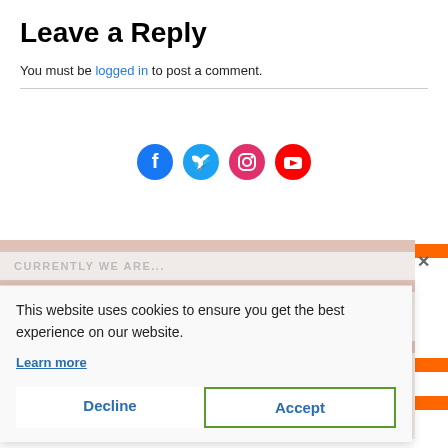Leave a Reply
You must be logged in to post a comment.
[Figure (illustration): Social media icons row: Facebook (blue circle), Twitter (light blue circle), Instagram (pink/magenta circle), YouTube (red circle)]
CURRENTLY WE ARE...
WORKING ON OUR NEXT NEWSLETTER
Lots of lovely new books and an excellent competition ...
...READING
This website uses cookies to ensure you get the best experience on our website.
Learn more
Decline
Accept